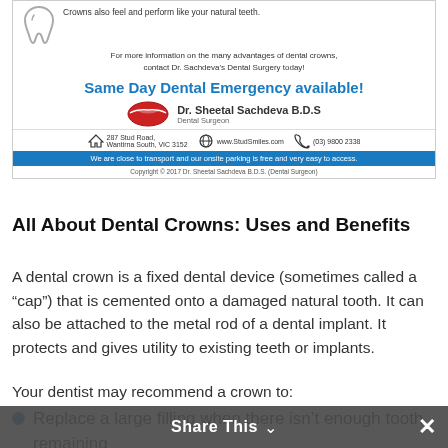[Figure (infographic): Dental practice advertisement for Dr. Sheetal Sachdeva B.D.S showing a tooth icon, text about crowns looking and performing like natural teeth, contact information, address at 287 Stud Road Wantirna South VIC 3152, website www.StudSmiles.com, phone (03) 9800 2338, blue bar with parking info, and copyright notice.]
All About Dental Crowns: Uses and Benefits
A dental crown is a fixed dental device (sometimes called a “cap”) that is cemented onto a damaged natural tooth. It can also be attached to the metal rod of a dental implant. It protects and gives utility to existing teeth or implants.
Your dentist may recommend a crown to:
Replace a large filling when there isn’t enough tooth remaining